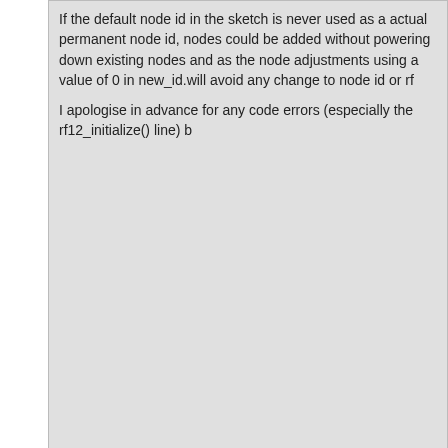If the default node id in the sketch is never used as a actual permanent node id, nodes could be added without powering down existing nodes and as the node adjustments using a value of 0 in new_id.will avoid any change to node id or rf
I apologise in advance for any code errors (especially the rf12_initialize() line) b
Re: Configure an EmonTx from EmonCMS using the packетge
Submitted by TrystanLea on Thu, 16/01/2014 - 15:49.
Node 15 is the control packet nodeid, are you thinking that the rfm12pi sends o the target node id? It would be possible but would need changes to the current specification of the nodeid that it should be sent as.
Re: Configure an EmonTx from EmonCMS using the packетge
Submitted by pb66 on Thu, 16/01/2014 - 16:40.
Okay scrap that then!